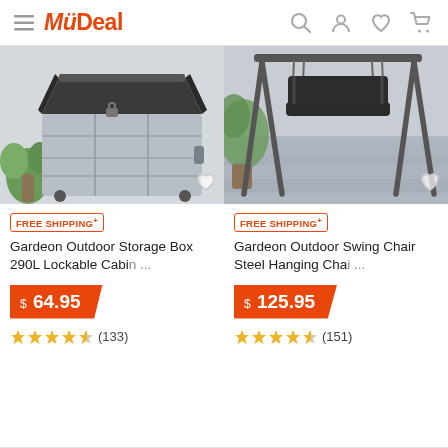MyDeal
[Figure (photo): Gardeon outdoor storage box, grey lockable cabinet with open lid showing dark interior]
[Figure (photo): Gardeon outdoor swing chair, steel hanging chair with dark cushion in garden setting]
FREE SHIPPING+
FREE SHIPPING+
Gardeon Outdoor Storage Box 290L Lockable Cabin ...
Gardeon Outdoor Swing Chair Steel Hanging Cha ...
$ 64.95
$ 125.95
★★★★½ (133)
★★★★½ (151)